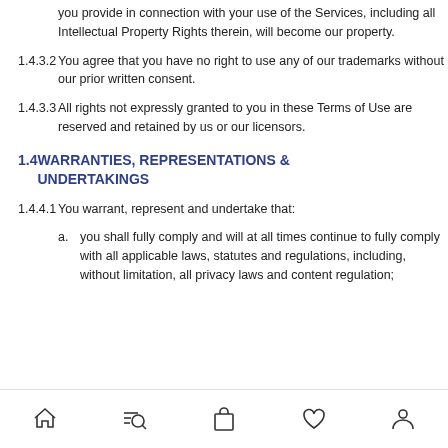you provide in connection with your use of the Services, including all Intellectual Property Rights therein, will become our property.
1.4.3.2 You agree that you have no right to use any of our trademarks without our prior written consent.
1.4.3.3 All rights not expressly granted to you in these Terms of Use are reserved and retained by us or our licensors.
1.4 WARRANTIES, REPRESENTATIONS & UNDERTAKINGS
1.4.4.1 You warrant, represent and undertake that:
a. you shall fully comply and will at all times continue to fully comply with all applicable laws, statutes and regulations, including, without limitation, all privacy laws and content regulation;
Navigation bar with home, search, shop, wishlist, account icons